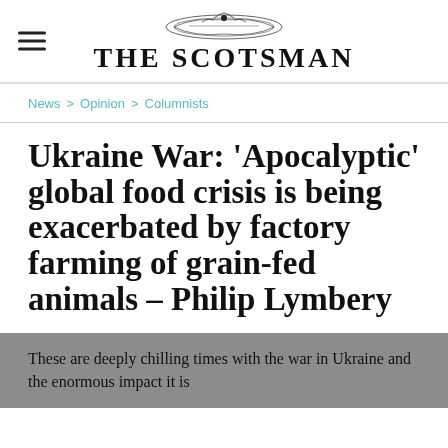THE SCOTSMAN
News > Opinion > Columnists
Ukraine War: 'Apocalyptic' global food crisis is being exacerbated by factory farming of grain-fed animals – Philip Lymbery
These are deeply chilling times with the war in Ukraine and the enormous impact it is